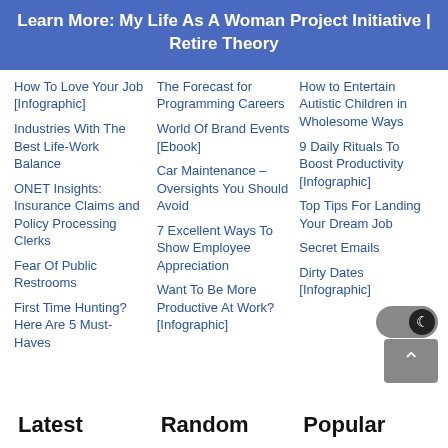Learn More: My Life As A Woman Project Initiative | Retire Theory
How To Love Your Job [Infographic]
Industries With The Best Life-Work Balance
ONET Insights: Insurance Claims and Policy Processing Clerks
Fear Of Public Restrooms
First Time Hunting? Here Are 5 Must-Haves
The Forecast for Programming Careers
World Of Brand Events [Ebook]
Car Maintenance – Oversights You Should Avoid
7 Excellent Ways To Show Employee Appreciation
Want To Be More Productive At Work? [Infographic]
How to Entertain Autistic Children in Wholesome Ways
9 Daily Rituals To Boost Productivity [Infographic]
Top Tips For Landing Your Dream Job
Secret Emails
Dirty Dates [Infographic]
Latest   Random   Popular